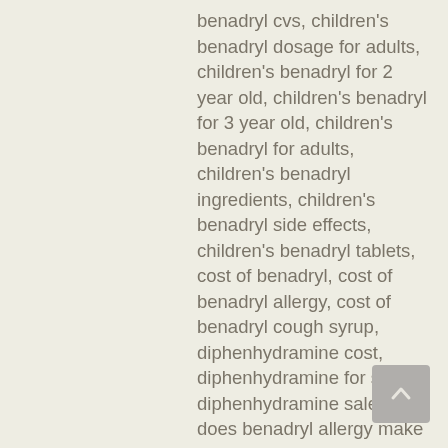benadryl cvs, children's benadryl dosage for adults, children's benadryl for 2 year old, children's benadryl for 3 year old, children's benadryl for adults, children's benadryl ingredients, children's benadryl side effects, children's benadryl tablets, cost of benadryl, cost of benadryl allergy, cost of benadryl cough syrup, diphenhydramine cost, diphenhydramine for sale, diphenhydramine sale, does benadryl allergy make you